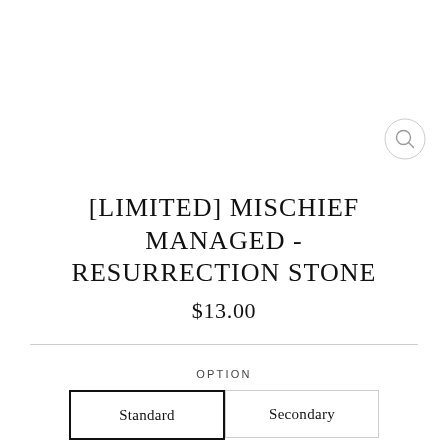[Figure (other): Search icon — circular outlined magnifying glass symbol in top-right area]
[LIMITED] MISCHIEF MANAGED - RESURRECTION STONE
$13.00
OPTION
Standard   Secondary